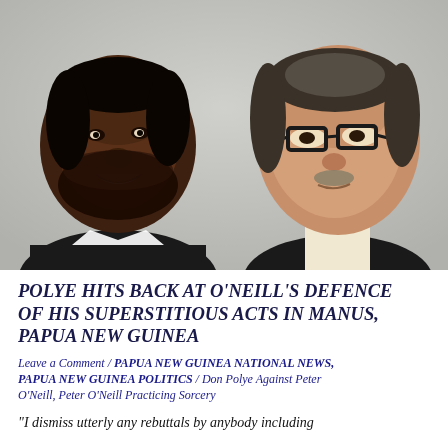[Figure (photo): Two men side by side: on the left, a dark-skinned man with a beard wearing a dark suit, smiling; on the right, a lighter-skinned man wearing glasses, looking to the side.]
POLYE HITS BACK AT O'NEILL'S DEFENCE OF HIS SUPERSTITIOUS ACTS IN MANUS, PAPUA NEW GUINEA
Leave a Comment / PAPUA NEW GUINEA NATIONAL NEWS, PAPUA NEW GUINEA POLITICS / Don Polye Against Peter O'Neill, Peter O'Neill Practicing Sorcery
"I dismiss utterly any rebuttals by anybody including Hon. Peter O'Neill against my position on dark age-type